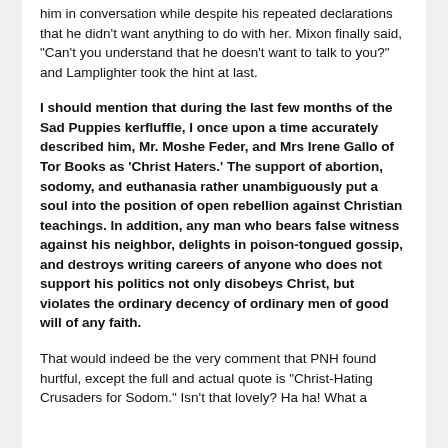him in conversation while despite his repeated declarations that he didn't want anything to do with her. Mixon finally said, “Can’t you understand that he doesn’t want to talk to you?” and Lamplighter took the hint at last.
I should mention that during the last few months of the Sad Puppies kerfluffle, I once upon a time accurately described him, Mr. Moshe Feder, and Mrs Irene Gallo of Tor Books as ‘Christ Haters.’ The support of abortion, sodomy, and euthanasia rather unambiguously put a soul into the position of open rebellion against Christian teachings. In addition, any man who bears false witness against his neighbor, delights in poison-tongued gossip, and destroys writing careers of anyone who does not support his politics not only disobeys Christ, but violates the ordinary decency of ordinary men of good will of any faith.
That would indeed be the very comment that PNH found hurtful, except the full and actual quote is “Christ-Hating Crusaders for Sodom.” Isn’t that lovely? Ha ha! What a